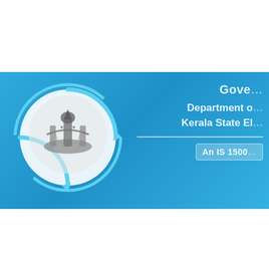[Figure (logo): Kerala State government logo/emblem — a circular emblem with the Kerala state seal (elephant and other symbols) on a white background, surrounded by light blue circular arrow design, all set on a blue banner background. To the right, partially visible text reads 'Gove...', 'Department o...', 'Kerala State El...', and an ISO certification badge reading 'An IS 1500...']